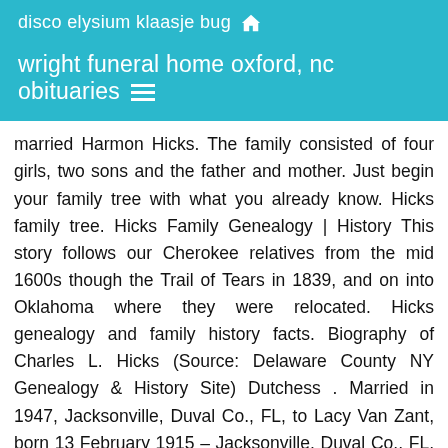disco elysium klaasje bug 🏠
wright funeral home oxford, nc obituaries ≡
married Harmon Hicks. The family consisted of four girls, two sons and the father and mother. Just begin your family tree with what you already know. Hicks family tree. Hicks Family Genealogy | History This story follows our Cherokee relatives from the mid 1600s though the Trail of Tears in 1839, and on into Oklahoma where they were relocated. Hicks genealogy and family history facts. Biography of Charles L. Hicks (Source: Delaware County NY Genealogy & History Site) Dutchess . Married in 1947, Jacksonville, Duval Co., FL, to Lacy Van Zant, born 13 February 1915 – Jacksonville, Duval Co., FL, deceased 3 August 2004 – Jacksonville, Duval Co., FL aged 89 years old, Truck Driver. Margaret Hicks 1610-1670 Married in 1628, England, to Edward Griswold 1607-1691 with. Explore historical records and family tree profiles about Eldra Hicks on MyHeritage, the